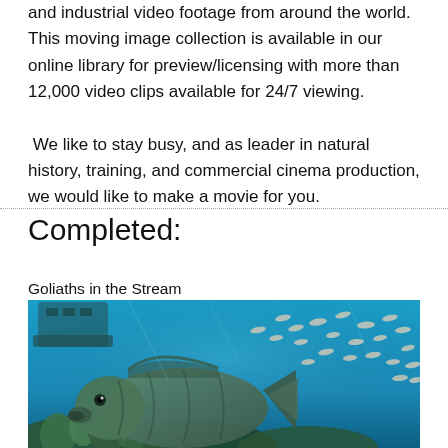and industrial video footage from around the world. This moving image collection is available in our online library for preview/licensing with more than 12,000 video clips available for 24/7 viewing.

 We like to stay busy, and as leader in natural history, training, and commercial cinema production, we would like to make a movie for you.
Completed:
Goliaths in the Stream
[Figure (photo): Underwater photograph showing a large goliath grouper fish in the foreground on a coral reef, with a school of smaller silver fish and blue water in the background, and a shipwreck visible in the upper left.]